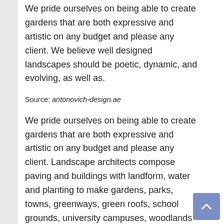We pride ourselves on being able to create gardens that are both expressive and artistic on any budget and please any client. We believe well designed landscapes should be poetic, dynamic, and evolving, as well as.
Source: antonovich-design.ae
We pride ourselves on being able to create gardens that are both expressive and artistic on any budget and please any client. Landscape architects compose paving and buildings with landform, water and planting to make gardens, parks, towns, greenways, green roofs, school grounds, university campuses, woodlands and many other types of designed landscape.the laa website showcases the types of work the